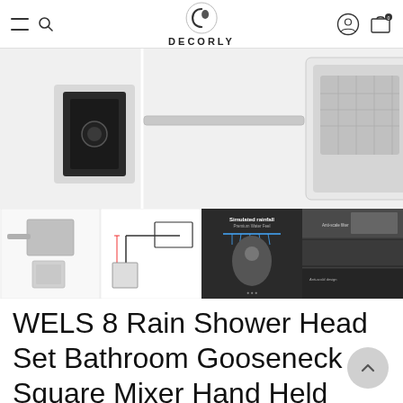DECORLY — navigation bar with hamburger menu, search, logo, user icon, cart icon
[Figure (photo): Main product image area showing partial view of a square rain shower head and a wall-mounted mixer valve with dark finish on the left side, against a light gray/white background.]
[Figure (photo): Thumbnail strip of four product images: (1) square rain shower head with arm and mixer valve box, (2) technical/line-art diagram showing gooseneck arm and shower head dimensions, (3) dark promotional image with text 'Simulated rainfall' showing man showering, (4) multi-panel dark product detail image with close-up shots of shower components.]
WELS 8 Rain Shower Head Set Bathroom Gooseneck Square Mixer Hand Held High